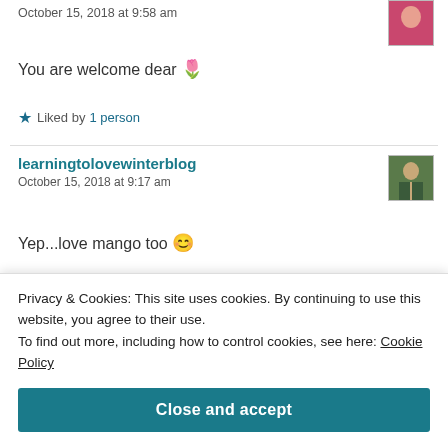October 15, 2018 at 9:58 am
You are welcome dear 🌷
★ Liked by 1 person
learningtolovewinterblog
October 15, 2018 at 9:17 am
Yep...love mango too 😊
Privacy & Cookies: This site uses cookies. By continuing to use this website, you agree to their use. To find out more, including how to control cookies, see here: Cookie Policy
Close and accept